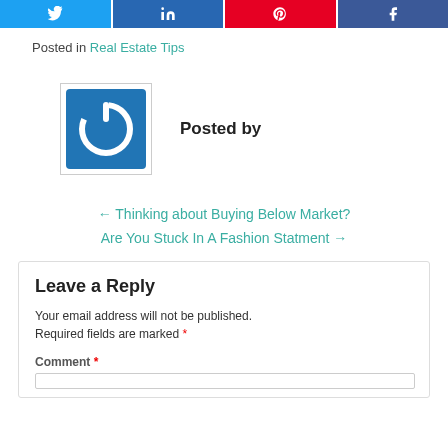[Figure (other): Social share buttons row: Twitter, LinkedIn, Pinterest, Facebook]
Posted in Real Estate Tips
[Figure (logo): Author avatar: blue square with white power icon]
Posted by
← Thinking about Buying Below Market?
Are You Stuck In A Fashion Statment →
Leave a Reply
Your email address will not be published. Required fields are marked *
Comment *